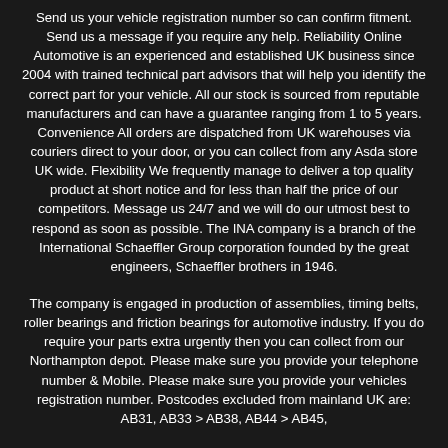Send us your vehicle registration number so can confirm fitment. Send us a message if you require any help. Reliability Online Automotive is an experienced and established UK business since 2004 with trained technical part advisors that will help you identify the correct part for your vehicle. All our stock is sourced from reputable manufacturers and can have a guarantee ranging from 1 to 5 years. Convenience All orders are dispatched from UK warehouses via couriers direct to your door, or you can collect from any Asda store UK wide. Flexibility We frequently manage to deliver a top quality product at short notice and for less than half the price of our competitors. Message us 24/7 and we will do our utmost best to respond as soon as possible. The INA company is a branch of the International Schaeffler Group corporation founded by the great engineers, Schaeffler brothers in 1946.
The company is engaged in production of assemblies, timing belts, roller bearings and friction bearings for automotive industry. If you do require your parts extra urgently then you can collect from our Northampton depot. Please make sure you provide your telephone number & Mobile. Please make sure you provide your vehicles registration number. Postcodes excluded from mainland UK are: AB31, AB33 > AB38, AB44 > AB45,